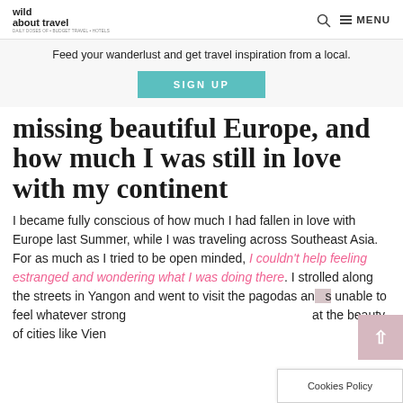wild about travel | MENU
Feed your wanderlust and get travel inspiration from a local.
SIGN UP
missing beautiful Europe, and how much I was still in love with my continent
I became fully conscious of how much I had fallen in love with Europe last Summer, while I was traveling across Southeast Asia. For as much as I tried to be open minded, I couldn't help feeling estranged and wondering what I was doing there. I strolled along the streets in Yangon and went to visit the pagodas and was unable to feel whatever strong emotions. I kept thinking at the beauty of cities like Vien... or Rome
Cookies Policy